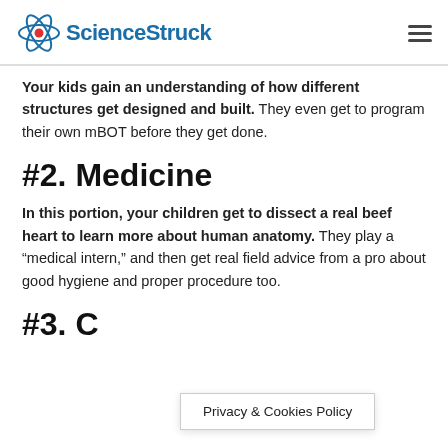ScienceStruck
Your kids gain an understanding of how different structures get designed and built. They even get to program their own mBOT before they get done.
#2. Medicine
In this portion, your children get to dissect a real beef heart to learn more about human anatomy. They play a “medical intern,” and then get real field advice from a pro about good hygiene and proper procedure too.
#3. C
Privacy & Cookies Policy